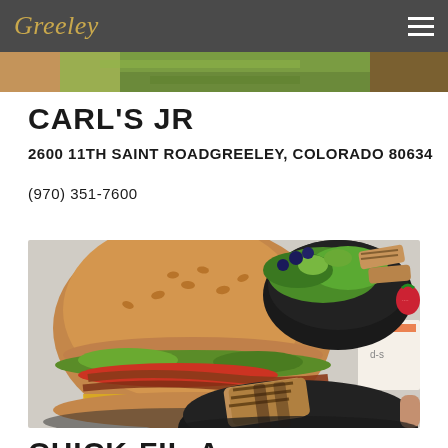Greeley
[Figure (photo): Partial image strip at top of page showing food items]
CARL'S JR
2600 11TH SAINT ROADGREELEY, COLORADO 80634
(970) 351-7600
[Figure (photo): Food photo showing a burger with bacon and cheese on a sesame bun, a salad with grilled chicken and strawberries in a dark bowl, and a grilled chicken piece in a dark bowl]
CHICK-FIL-A